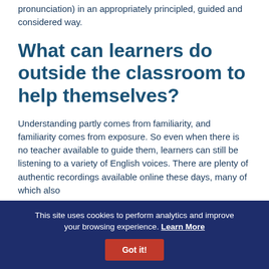pronunciation) in an appropriately principled, guided and considered way.
What can learners do outside the classroom to help themselves?
Understanding partly comes from familiarity, and familiarity comes from exposure. So even when there is no teacher available to guide them, learners can still be listening to a variety of English voices. There are plenty of authentic recordings available online these days, many of which also
This site uses cookies to perform analytics and improve your browsing experience. Learn More Got it!